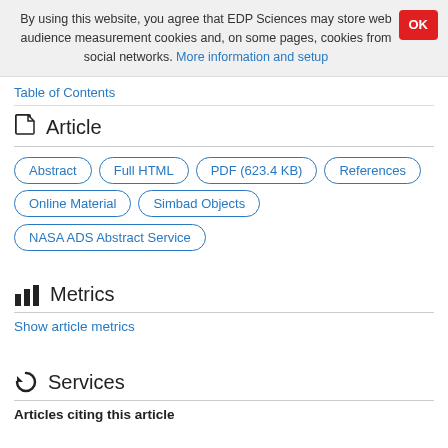By using this website, you agree that EDP Sciences may store web audience measurement cookies and, on some pages, cookies from social networks. More information and setup
Table of Contents
Article
Abstract
Full HTML
PDF (623.4 KB)
References
Online Material
Simbad Objects
NASA ADS Abstract Service
Metrics
Show article metrics
Services
Articles citing this article